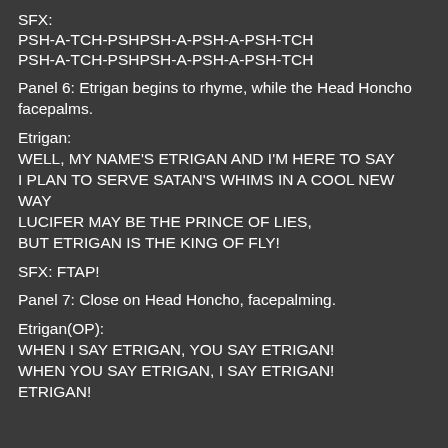SFX:
PSH-A-TCH-PSHPSH-A-PSH-A-PSH-TCH
PSH-A-TCH-PSHPSH-A-PSH-A-PSH-TCH
Panel 6: Etrigan begins to rhyme, while the Head Honcho facepalms.
Etrigan:
WELL, MY NAME'S ETRIGAN AND I'M HERE TO SAY
I PLAN TO SERVE SATAN'S WHIMS IN A COOL NEW WAY
LUCIFER MAY BE THE PRINCE OF LIES,
BUT ETRIGAN IS THE KING OF FLY!
SFX: FTAP!
Panel 7: Close on Head Honcho, facepalming.
Etrigan(OP):
WHEN I SAY ETRIGAN, YOU SAY ETRIGAN!
WHEN YOU SAY ETRIGAN, I SAY ETRIGAN!
ETRIGAN!